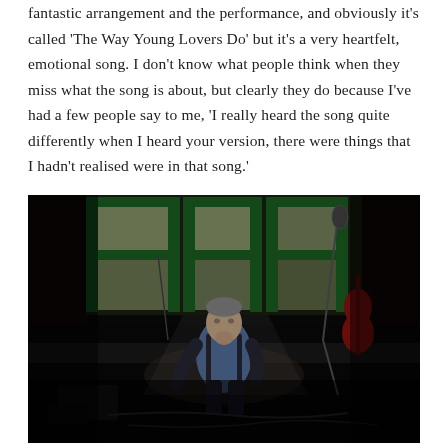fantastic arrangement and the performance, and obviously it's called 'The Way Young Lovers Do' but it's a very heartfelt, emotional song. I don't know what people think when they miss what the song is about, but clearly they do because I've had a few people say to me, 'I really heard the song quite differently when I heard your version, there were things that I hadn't realised were in that song.'
[Figure (photo): A man sitting alone on a dark stage or studio floor, dressed in a blue shirt and dark vest, chin resting on his hand in a contemplative pose. Large green-framed windows are visible in the background letting in light. Music stands, cables, equipment, and a red guitar are visible around him. The scene is dramatically lit with strong shadows.]